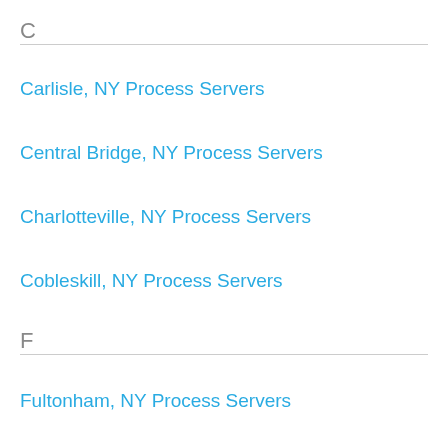C
Carlisle, NY Process Servers
Central Bridge, NY Process Servers
Charlotteville, NY Process Servers
Cobleskill, NY Process Servers
F
Fultonham, NY Process Servers